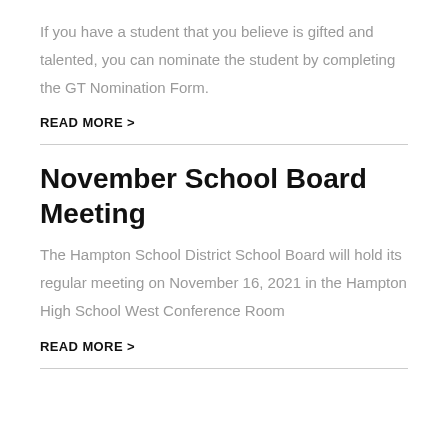If you have a student that you believe is gifted and talented, you can nominate the student by completing the GT Nomination Form.
READ MORE >
November School Board Meeting
The Hampton School District School Board will hold its regular meeting on November 16, 2021 in the Hampton High School West Conference Room
READ MORE >